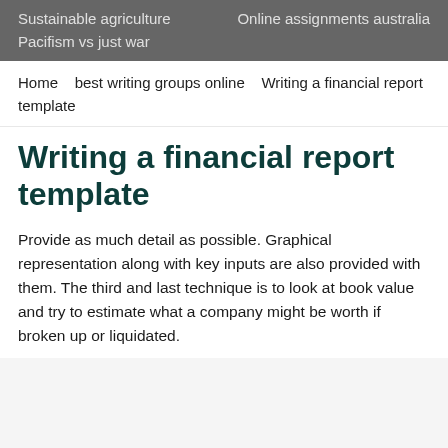Sustainable agriculture    Online assignments australia
Pacifism vs just war
Home    best writing groups online    Writing a financial report template
Writing a financial report template
Provide as much detail as possible. Graphical representation along with key inputs are also provided with them. The third and last technique is to look at book value and try to estimate what a company might be worth if broken up or liquidated.